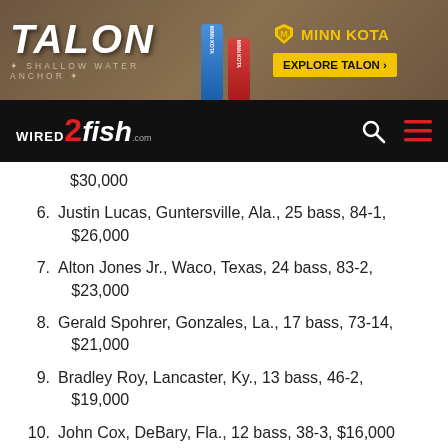[Figure (illustration): Talon Shallow Water Anchor advertisement banner with Minn Kota branding, showing blue and red anchor products on a wood background, with 'EXPLORE TALON' yellow button]
[Figure (logo): Wired2Fish.com navigation bar logo on black background with search and menu icons]
$30,000
6. Justin Lucas, Guntersville, Ala., 25 bass, 84-1, $26,000
7. Alton Jones Jr., Waco, Texas, 24 bass, 83-2, $23,000
8. Gerald Spohrer, Gonzales, La., 17 bass, 73-14, $21,000
9. Bradley Roy, Lancaster, Ky., 13 bass, 46-2, $19,000
10. John Cox, DeBary, Fla., 12 bass, 38-3, $16,000